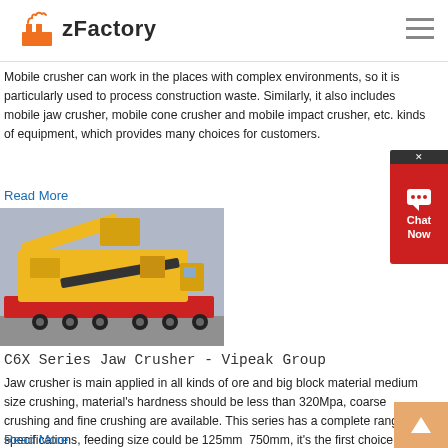zFactory
Mobile crusher can work in the places with complex environments, so it is particularly used to process construction waste. Similarly, it also includes mobile jaw crusher, mobile cone crusher and mobile impact crusher, etc. kinds of equipment, which provides many choices for customers.
Read More
[Figure (photo): Yellow mobile jaw crusher mounted on a red multi-axle flatbed transport truck]
C6X Series Jaw Crusher - Vipeak Group
Jaw crusher is main applied in all kinds of ore and big block material medium size crushing, material's hardness should be less than 320Mpa, coarse crushing and fine crushing are available. This series has a complete range of specifications, feeding size could be 125mm  750mm, it's the first choice of primary crushing. Jaw crusher could be ...
Read More